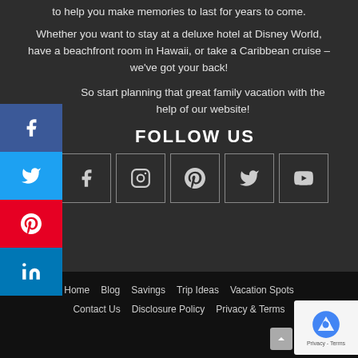to help you make memories to last for years to come.
Whether you want to stay at a deluxe hotel at Disney World, have a beachfront room in Hawaii, or take a Caribbean cruise – we've got your back!
So start planning that great family vacation with the help of our website!
FOLLOW US
[Figure (infographic): Social media icons row: Facebook, Instagram, Pinterest, Twitter, YouTube in bordered square boxes]
Home  Blog  Savings  Trip Ideas  Vacation Spots  Contact Us  Disclosure Policy  Privacy & Terms